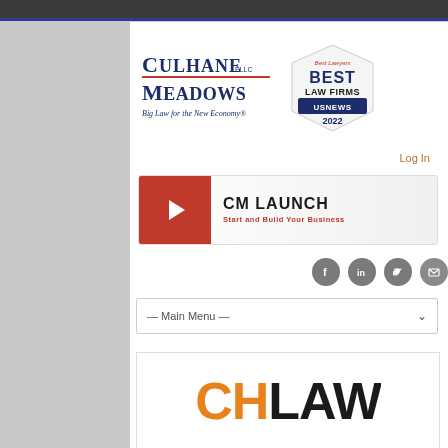[Figure (logo): Culhane Meadows PLLC logo with tagline 'Big Law for the New Economy' and US News Best Law Firms 2022 badge]
Log In
[Figure (logo): CM Launch - Start and Build Your Business banner with red play button icon]
[Figure (logo): Social media icons: Facebook, LinkedIn, Twitter, Email]
— Main Menu —
[Figure (logo): Partial CHLAW logo at bottom, orange and black lettering]